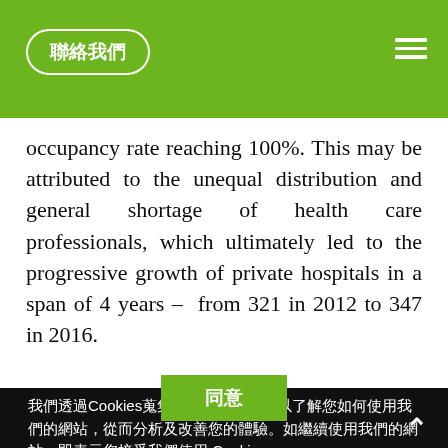聯絡我們
occupancy rate reaching 100%. This may be attributed to the unequal distribution and general shortage of health care professionals, which ultimately led to the progressive growth of private hospitals in a span of 4 years – from 321 in 2012 to 347 in 2016.
我們透過Cookies蒐集您的瀏覽記錄，以了解您如何使用我們的網站，從而分析及改善您的體驗。如繼續使用我們的網站，即表示您接受我們使用 Cookies。
同意